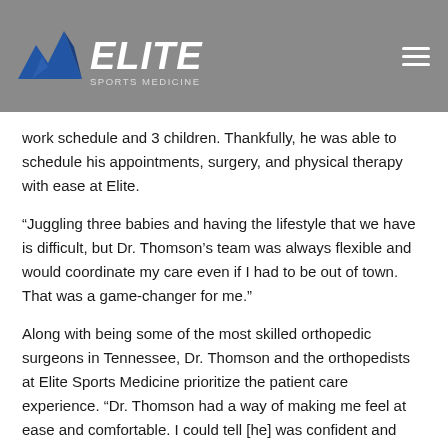[Figure (logo): Elite Sports Medicine + Orthopedics logo with mountain/M graphic and white text on gray background]
work schedule and 3 children. Thankfully, he was able to schedule his appointments, surgery, and physical therapy with ease at Elite.
“Juggling three babies and having the lifestyle that we have is difficult, but Dr. Thomson’s team was always flexible and would coordinate my care even if I had to be out of town. That was a game-changer for me.”
Along with being some of the most skilled orthopedic surgeons in Tennessee, Dr. Thomson and the orthopedists at Elite Sports Medicine prioritize the patient care experience. “Dr. Thomson had a way of making me feel at ease and comfortable. I could tell [he] was confident and